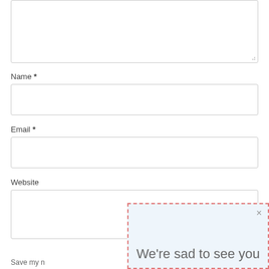[Figure (screenshot): A textarea input box (empty, with resize handle at bottom-right), partially visible at the top of the page]
Name *
[Figure (screenshot): An empty text input field for Name]
Email *
[Figure (screenshot): An empty text input field for Email]
Website
[Figure (screenshot): An empty text input field for Website]
Save my n...
[Figure (screenshot): A popup dialog with dashed red/pink border and light blue background, showing a close X button and the text 'We're sad to see you']